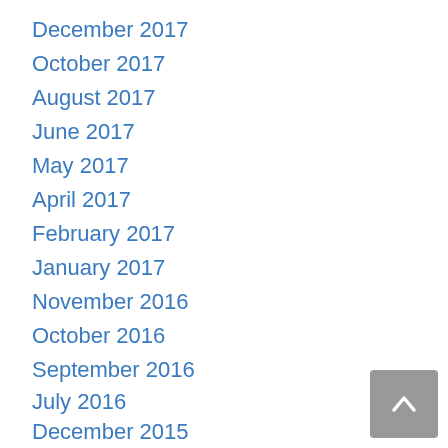December 2017
October 2017
August 2017
June 2017
May 2017
April 2017
February 2017
January 2017
November 2016
October 2016
September 2016
July 2016
December 2015
November 2015